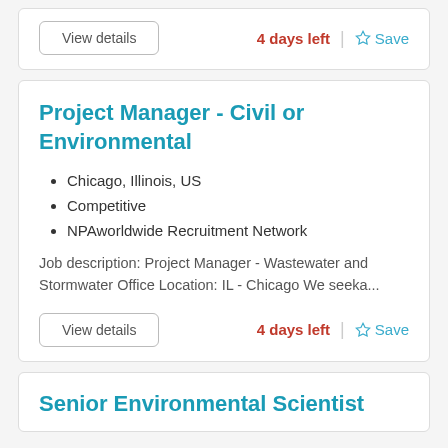View details
4 days left
Save
Project Manager - Civil or Environmental
Chicago, Illinois, US
Competitive
NPAworldwide Recruitment Network
Job description: Project Manager - Wastewater and Stormwater Office Location: IL - Chicago We seeka...
View details
4 days left
Save
Senior Environmental Scientist